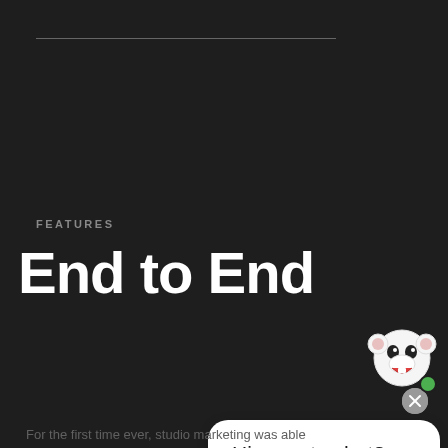FEATURES
End to End
[Figure (screenshot): Chat widget showing 'Hi, care to chat?' message bubble and 'Sure' response button, with a mascot character (cartoon cow/panda with green online indicator dot), and a grey close (x) button at top right of the widget.]
For the first time ever, studio marketing was able